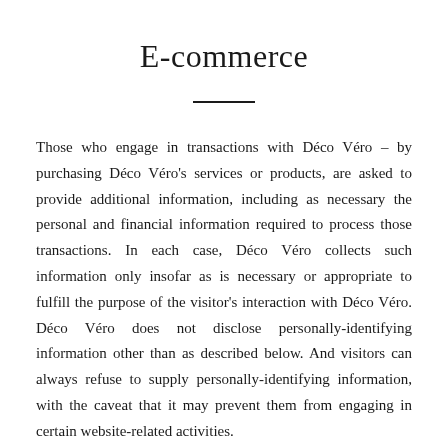E-commerce
Those who engage in transactions with Déco Véro – by purchasing Déco Véro's services or products, are asked to provide additional information, including as necessary the personal and financial information required to process those transactions. In each case, Déco Véro collects such information only insofar as is necessary or appropriate to fulfill the purpose of the visitor's interaction with Déco Véro. Déco Véro does not disclose personally-identifying information other than as described below. And visitors can always refuse to supply personally-identifying information, with the caveat that it may prevent them from engaging in certain website-related activities.